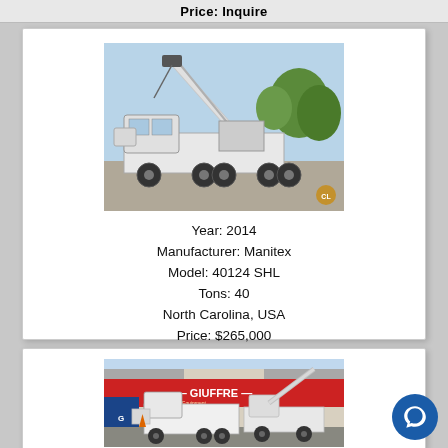Price: Inquire
[Figure (photo): White truck-mounted crane (Manitex 40124 SHL) photographed in a parking lot with trees in background]
Year: 2014
Manufacturer: Manitex
Model: 40124 SHL
Tons: 40
North Carolina, USA
Price: $265,000
[Figure (photo): White truck-mounted crane parked in front of a Giuffre Equipment dealership building with red and gray facade]